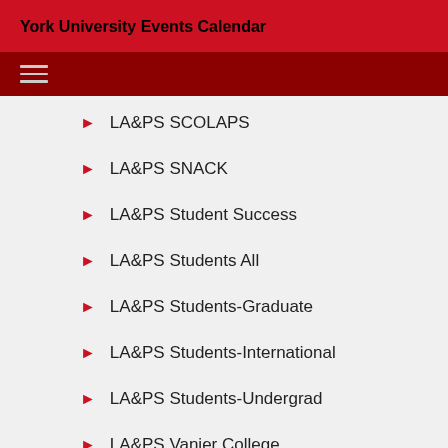York University Events Calendar
LA&PS SCOLAPS
LA&PS SNACK
LA&PS Student Success
LA&PS Students All
LA&PS Students-Graduate
LA&PS Students-International
LA&PS Students-Undergrad
LA&PS Vanier College
LA&PS Vanier College Productions